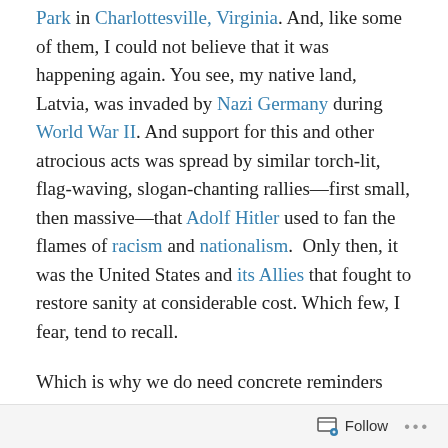Park in Charlottesville, Virginia. And, like some of them, I could not believe that it was happening again. You see, my native land, Latvia, was invaded by Nazi Germany during World War II. And support for this and other atrocious acts was spread by similar torch-lit, flag-waving, slogan-chanting rallies—first small, then massive—that Adolf Hitler used to fan the flames of racism and nationalism.  Only then, it was the United States and its Allies that fought to restore sanity at considerable cost. Which few, I fear, tend to recall.
Which is why we do need concrete reminders such as monuments in public places. For me, the Vietnam Veterans Memorial is the best example. While the war and, initially, the memorial itself were divisive, the
Follow ···